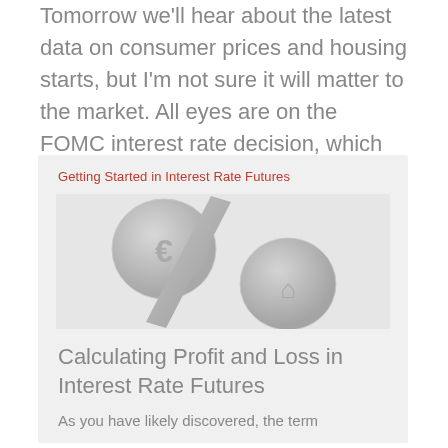Tomorrow we'll hear about the latest data on consumer prices and housing starts, but I'm not sure it will matter to the market. All eyes are on the FOMC interest rate decision, which will be released at 2:00 Eastern.
Getting Started in Interest Rate Futures
[Figure (illustration): 3D rendered percent sign symbol made of gray cylindrical shapes, with a euro coin symbol on the left circle and a house symbol on the right circle, on a light gray background.]
Calculating Profit and Loss in Interest Rate Futures
As you have likely discovered, the term